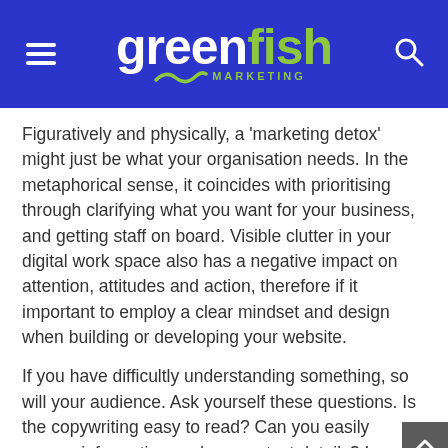greenfish MARKETING
Figuratively and physically, a ‘marketing detox’ might just be what your organisation needs. In the metaphorical sense, it coincides with prioritising through clarifying what you want for your business, and getting staff on board. Visible clutter in your digital work space also has a negative impact on attention, attitudes and action, therefore if it important to employ a clear mindset and design when building or developing your website.
If you have difficultly understanding something, so will your audience. Ask yourself these questions. Is the copywriting easy to read? Can you easily access information such as contact details? Is